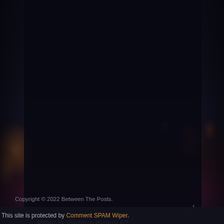[Figure (screenshot): Dark night city skyline background with bokeh city lights on left and right sides, dark semi-transparent overlay panel in center]
What is thirteen minus 6? *
SEND
Copyright © 2022 Between The Posts.
This site is protected by Comment SPAM Wiper.